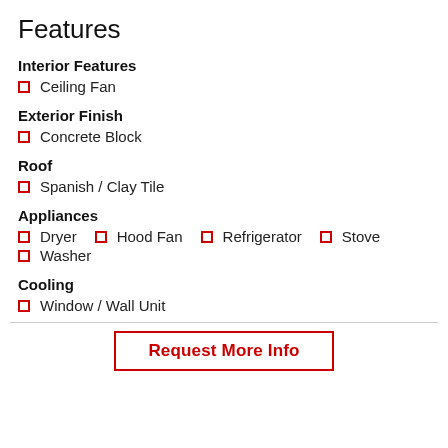Features
Interior Features
Ceiling Fan
Exterior Finish
Concrete Block
Roof
Spanish / Clay Tile
Appliances
Dryer
Hood Fan
Refrigerator
Stove
Washer
Cooling
Window / Wall Unit
Request More Info